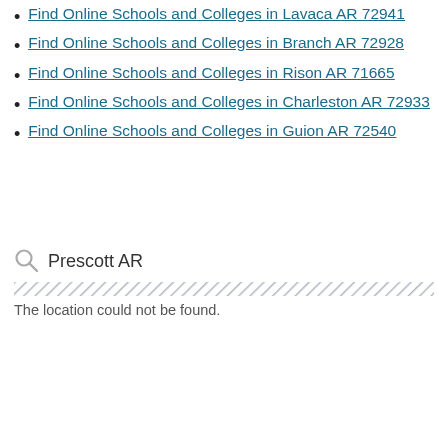Find Online Schools and Colleges in Lavaca AR 72941
Find Online Schools and Colleges in Branch AR 72928
Find Online Schools and Colleges in Rison AR 71665
Find Online Schools and Colleges in Charleston AR 72933
Find Online Schools and Colleges in Guion AR 72540
Prescott AR
The location could not be found.